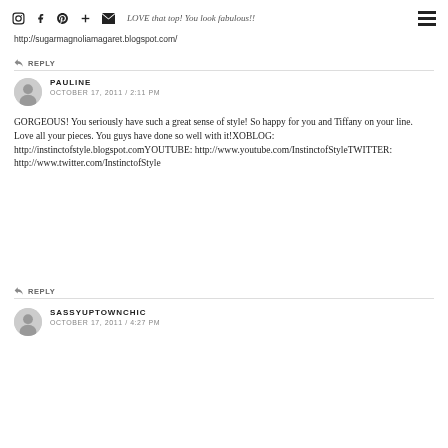LOVE that top! You look fabulous!!
http://sugarmagnoliamagaret.blogspot.com/
REPLY
PAULINE
OCTOBER 17, 2011 / 2:11 PM
GORGEOUS! You seriously have such a great sense of style! So happy for you and Tiffany on your line. Love all your pieces. You guys have done so well with it!XOBLOG: http://instinctofstyle.blogspot.comYOUTUBE: http://www.youtube.com/InstinctofStyleTWITTER: http://www.twitter.com/InstinctofStyle
REPLY
SASSYUPTOWNCHIC
OCTOBER 17, 2011 / 4:27 PM